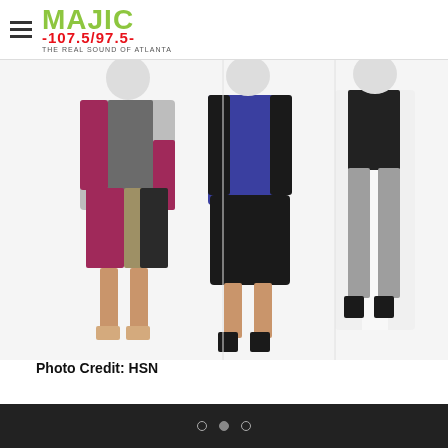MAJIC 107.5/97.5 - THE REAL SOUND OF ATLANTA
[Figure (photo): Three female fashion models shown from waist down wearing different outfits: left model in colorblock skirt with maroon/black/khaki panels; center model in blue blazer with black leather flared skirt; right model in white long cardigan with gray pants.]
Photo Credit: HSN
Even though Nene is a size 10 in real life, it was important to her to offer more than just a sample size to the masses. “There are a lot of curvy women in my family, and we’re tall, so this was personal. I wanted pieces that you could pop on in the
• • •